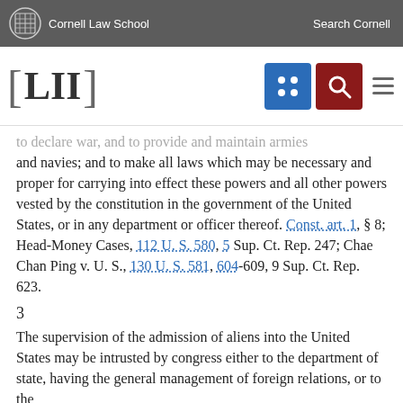Cornell Law School   Search Cornell
[Figure (logo): LII Legal Information Institute logo and navigation bar with blue grid icon and red search icon]
to declare war, and to provide and maintain armies and navies; and to make all laws which may be necessary and proper for carrying into effect these powers and all other powers vested by the constitution in the government of the United States, or in any department or officer thereof. Const. art. 1, § 8; Head-Money Cases, 112 U. S. 580, 5 Sup. Ct. Rep. 247; Chae Chan Ping v. U. S., 130 U. S. 581, 604-609, 9 Sup. Ct. Rep. 623.
3
The supervision of the admission of aliens into the United States may be intrusted by congress either to the department of state, having the general management of foreign relations, or to the department of the treasury, charged with the...